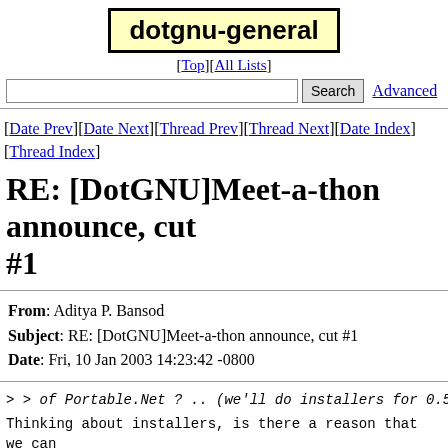dotgnu-general
[Top][All Lists]
[search bar] Search  Advanced
[Date Prev][Date Next][Thread Prev][Thread Next][Date Index][Thread Index]
RE: [DotGNU]Meet-a-thon announce, cut #1
From: Aditya P. Bansod
Subject: RE: [DotGNU]Meet-a-thon announce, cut #1
Date: Fri, 10 Jan 2003 14:23:42 -0800
> > of Portable.Net ? .. (we'll do installers for 0.5.2 .
Thinking about installers, is there a reason that we can
Nullsoft's NSIS? (Somebody might have already suggested i
source (their license is very straightforward and non-thr
pretty nifty.